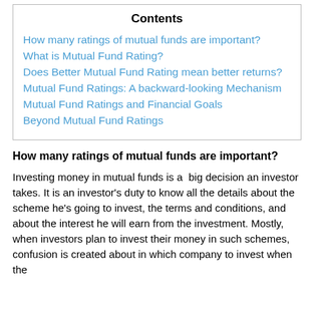| Contents |
| --- |
| How many ratings of mutual funds are important? |
| What is Mutual Fund Rating? |
| Does Better Mutual Fund Rating mean better returns? |
| Mutual Fund Ratings: A backward-looking Mechanism |
| Mutual Fund Ratings and Financial Goals |
| Beyond Mutual Fund Ratings |
How many ratings of mutual funds are important?
Investing money in mutual funds is a  big decision an investor takes. It is an investor's duty to know all the details about the scheme he's going to invest, the terms and conditions, and about the interest he will earn from the investment. Mostly, when investors plan to invest their money in such schemes, confusion is created about in which company to invest when the